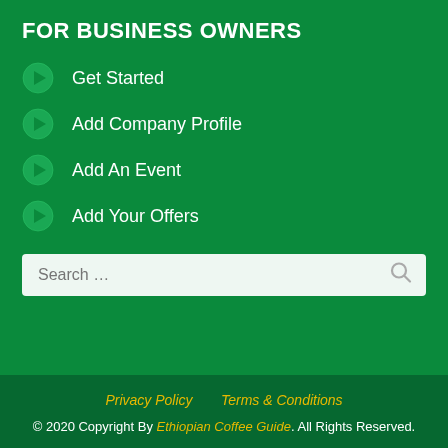FOR BUSINESS OWNERS
Get Started
Add Company Profile
Add An Event
Add Your Offers
Privacy Policy    Terms & Conditions
© 2020 Copyright By Ethiopian Coffee Guide. All Rights Reserved.